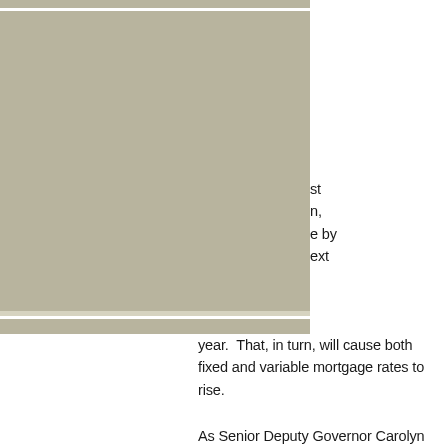[Figure (photo): Large grey/beige rectangular image block occupying the left portion of the page, with horizontal stripe separators]
st
n,
e by
ext year.  That, in turn, will cause both fixed and variable mortgage rates to rise.
As Senior Deputy Governor Carolyn Rogers noted in May: “We need higher rates to moderate demand, including demand in the housing market. Housing price growth is unsustainably strong in Canada.”
What does it mean for you? Buyers should act fast to secure a good mortgage rate